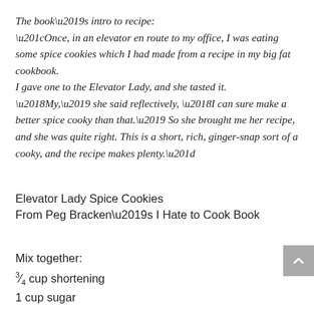The book’s intro to recipe:
“Once, in an elevator en route to my office, I was eating some spice cookies which I had made from a recipe in my big fat cookbook.
I gave one to the Elevator Lady, and she tasted it.
‘My,’ she said reflectively, ‘I can sure make a better spice cooky than that.’ So she brought me her recipe, and she was quite right. This is a short, rich, ginger-snap sort of a cooky, and the recipe makes plenty.”
Elevator Lady Spice Cookies
From Peg Bracken’s I Hate to Cook Book
Mix together:
¾ cup shortening
1 cup sugar